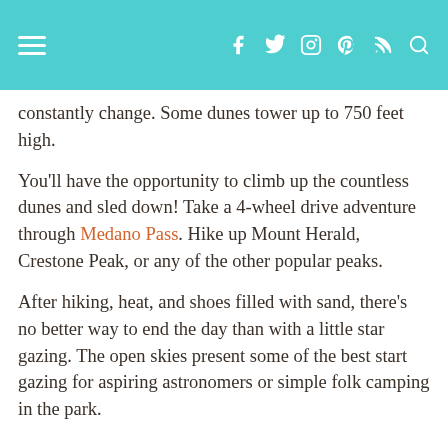[hamburger menu] [facebook] [twitter] [instagram] [pinterest] [rss] [search]
constantly change. Some dunes tower up to 750 feet high.
You'll have the opportunity to climb up the countless dunes and sled down! Take a 4-wheel drive adventure through Medano Pass. Hike up Mount Herald, Crestone Peak, or any of the other popular peaks.
After hiking, heat, and shoes filled with sand, there’s no better way to end the day than with a little star gazing. The open skies present some of the best start gazing for aspiring astronomers or simple folk camping in the park.